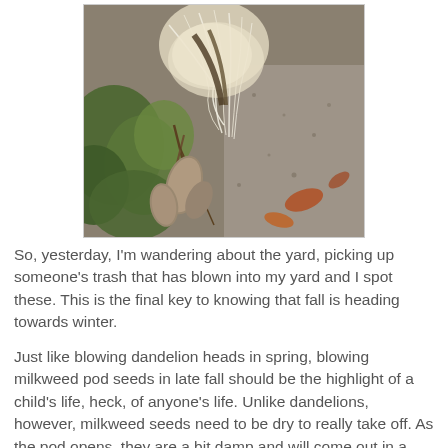[Figure (photo): A close-up photograph of an open milkweed pod on the ground, showing white silky seed fibers (floss) and seed pods, surrounded by leaves, twigs, and gravel.]
So, yesterday, I'm wandering about the yard, picking up someone's trash that has blown into my yard and I spot these. This is the final key to knowing that fall is heading towards winter.
Just like blowing dandelion heads in spring, blowing milkweed pod seeds in late fall should be the highlight of a child's life, heck, of anyone's life. Unlike dandelions, however, milkweed seeds need to be dry to really take off. As the pod opens, they are a bit damp and will come out in a